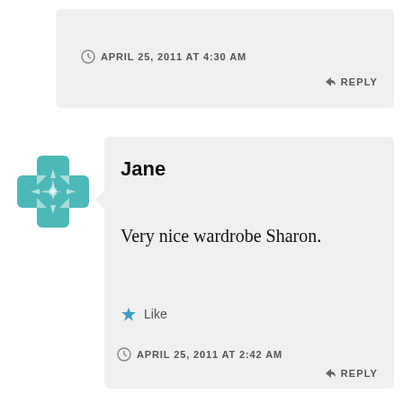APRIL 25, 2011 AT 4:30 AM
REPLY
[Figure (illustration): Teal/turquoise decorative avatar icon with a cross-plus shape made of geometric floral/star patterns]
Jane
Very nice wardrobe Sharon.
Like
APRIL 25, 2011 AT 2:42 AM
REPLY